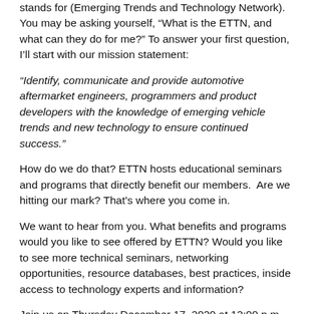stands for (Emerging Trends and Technology Network). You may be asking yourself, “What is the ETTN, and what can they do for me?” To answer your first question, I’ll start with our mission statement:
“Identify, communicate and provide automotive aftermarket engineers, programmers and product developers with the knowledge of emerging vehicle trends and new technology to ensure continued success.”
How do we do that? ETTN hosts educational seminars and programs that directly benefit our members.  Are we hitting our mark? That’s where you come in.
We want to hear from you. What benefits and programs would you like to see offered by ETTN? Would you like to see more technical seminars, networking opportunities, resource databases, best practices, inside access to technology experts and information?
Join us on Thursday December 17, 2020 at 12:00 p.m. EST (9 a.m. PST) for our first General Membership